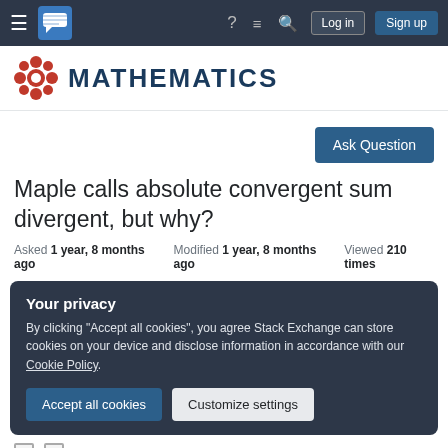Mathematics Stack Exchange — Navigation bar with hamburger menu, logo, help, chat, search, Log in, Sign up
[Figure (logo): Mathematics Stack Exchange logo: red snowflake/gear icon followed by bold dark blue MATHEMATICS text]
[Figure (other): Ask Question button in dark blue]
Maple calls absolute convergent sum divergent, but why?
Asked 1 year, 8 months ago   Modified 1 year, 8 months ago   Viewed 210 times
Your privacy
By clicking "Accept all cookies", you agree Stack Exchange can store cookies on your device and disclose information in accordance with our Cookie Policy.
Accept all cookies   Customize settings